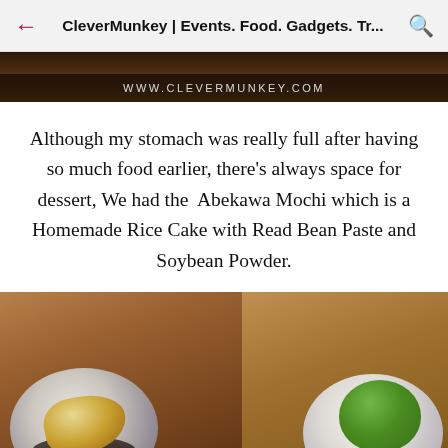CleverMunkey | Events. Food. Gadgets. Tr...
[Figure (photo): Top portion of a food photo with www.clevermunkey.com watermark overlay on a dark banner]
Although my stomach was really full after having so much food earlier, there's always space for dessert, We had the  Abekawa Mochi which is a Homemade Rice Cake with Read Bean Paste and Soybean Powder.
[Figure (photo): Two dessert plates on a wooden table: left plate has Abekawa Mochi with golden soybean powder on a ceramic plate with dark sauce; right plate has a large green matcha ice cream scoop with white mochi balls]